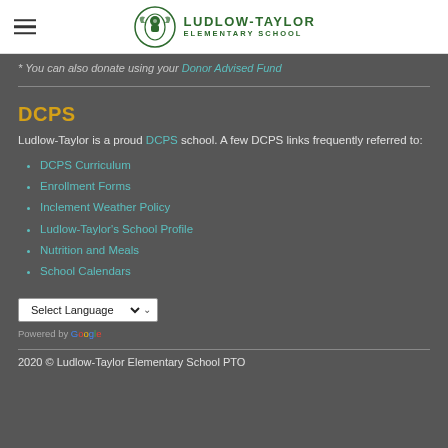LUDLOW-TAYLOR ELEMENTARY SCHOOL
* You can also donate using your Donor Advised Fund
DCPS
Ludlow-Taylor is a proud DCPS school. A few DCPS links frequently referred to:
DCPS Curriculum
Enrollment Forms
Inclement Weather Policy
Ludlow-Taylor's School Profile
Nutrition and Meals
School Calendars
Select Language — Powered by Google
2020 © Ludlow-Taylor Elementary School PTO